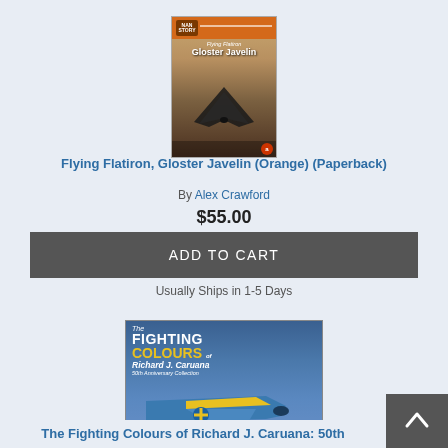[Figure (photo): Book cover of Flying Flatiron Gloster Javelin with orange top bar and sepia-toned aircraft image]
Flying Flatiron, Gloster Javelin (Orange) (Paperback)
By Alex Crawford
$55.00
ADD TO CART
Usually Ships in 1-5 Days
[Figure (photo): Book cover of The Fighting Colours of Richard J. Caruana: 50th Anniversary Collection, showing Saab 37 Viggen aircraft]
The Fighting Colours of Richard J. Caruana: 50th